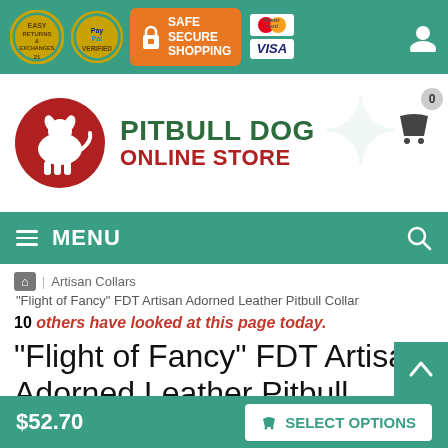Safe Secure Shopping | PayPal Verified | Easy Returns & Exchanges | MasterCard | Visa
[Figure (logo): Pitbull Dog Online Store logo with red circle containing white pitbull silhouette]
MENU
Artisan Collars
"Flight of Fancy" FDT Artisan Adorned Leather Pitbull Collar
10 others have looked at this page today.
"Flight of Fancy" FDT Artisan Adorned Leather Pitbull
$52.70  SELECT OPTIONS